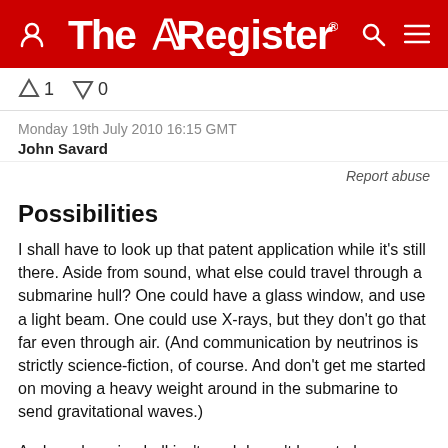The Register
↑1  ↓0
Monday 19th July 2010 16:15 GMT
John Savard
Report abuse
Possibilities
I shall have to look up that patent application while it's still there. Aside from sound, what else could travel through a submarine hull? One could have a glass window, and use a light beam. One could use X-rays, but they don't go that far even through air. (And communication by neutrinos is strictly science-fiction, of course. And don't get me started on moving a heavy weight around in the submarine to send gravitational waves.)
And a submarine hull isn't, and doesn't have to be, a